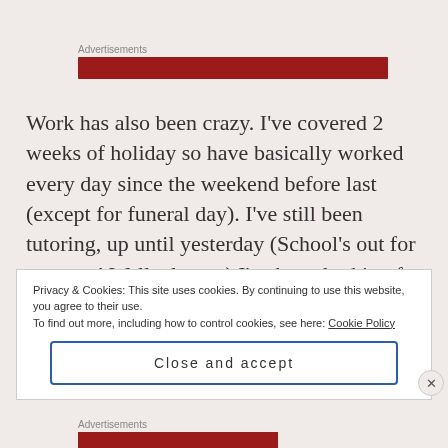[Figure (other): Advertisements label with red banner bar at top of page]
Work has also been crazy. I've covered 2 weeks of holiday so have basically worked every day since the weekend before last (except for funeral day). I've still been tutoring, up until yesterday (School's out for summer! Well, almost.) I've been looking for a teaching job instead of my retail so that means
Privacy & Cookies: This site uses cookies. By continuing to use this website, you agree to their use.
To find out more, including how to control cookies, see here: Cookie Policy
Close and accept
[Figure (other): Advertisements label with red banner bar at bottom of page]